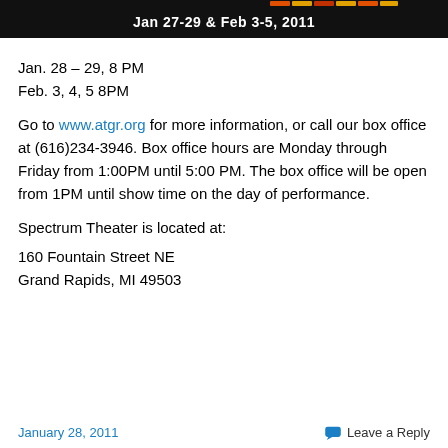[Figure (other): Black banner with orange/yellow decorative bar at top and white bold text reading 'Jan 27-29 & Feb 3-5, 2011']
Jan. 28 – 29, 8 PM
Feb. 3, 4, 5 8PM
Go to www.atgr.org for more information, or call our box office at (616)234-3946. Box office hours are Monday through Friday from 1:00PM until 5:00 PM. The box office will be open from 1PM until show time on the day of performance.
Spectrum Theater is located at:
160 Fountain Street NE
Grand Rapids, MI 49503
January 28, 2011   Leave a Reply